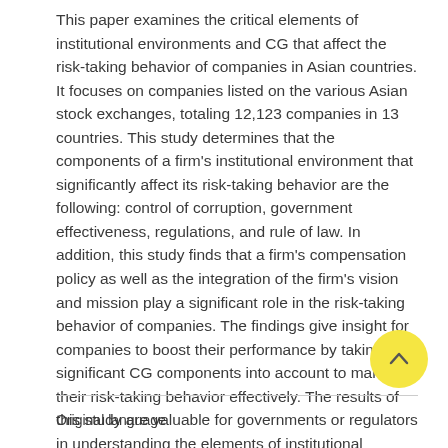This paper examines the critical elements of institutional environments and CG that affect the risk-taking behavior of companies in Asian countries. It focuses on companies listed on the various Asian stock exchanges, totaling 12,123 companies in 13 countries. This study determines that the components of a firm's institutional environment that significantly affect its risk-taking behavior are the following: control of corruption, government effectiveness, regulations, and rule of law. In addition, this study finds that a firm's compensation policy as well as the integration of the firm's vision and mission play a significant role in the risk-taking behavior of companies. The findings give insight for companies to boost their performance by taking the significant CG components into account to manage their risk-taking behavior effectively. The results of this study are valuable for governments or regulators in understanding the elements of institutional environments in creating policies or regulations that are conducive to business. Companies that can rely on government and businesses environment support can promote foreign direct investment (FDI).
Original language